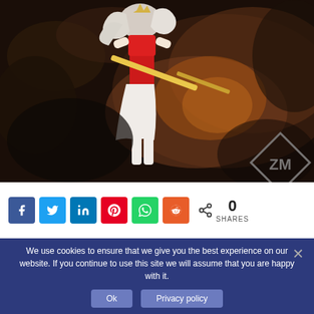[Figure (illustration): Anime-style warrior woman with white hair wearing red outfit, holding a glowing sword, standing in a smoky/fiery battlefield. Diamond-shaped ZM logo watermark in bottom right corner.]
[Figure (infographic): Social sharing buttons row: Facebook (blue), Twitter (blue), LinkedIn (dark blue), Pinterest (red), WhatsApp (green), Reddit (orange-red). Share icon with count 0 SHARES on the right.]
We use cookies to ensure that we give you the best experience on our website. If you continue to use this site we will assume that you are happy with it.
Ok   Privacy policy